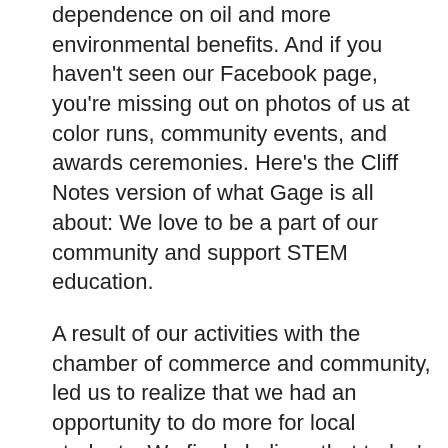dependence on oil and more environmental benefits. And if you haven't seen our Facebook page, you're missing out on photos of us at color runs, community events, and awards ceremonies. Here's the Cliff Notes version of what Gage is all about: We love to be a part of our community and support STEM education.
A result of our activities with the chamber of commerce and community, led us to realize that we had an opportunity to do more for local students. We firmly believe that today's students represent tomorrow's business leaders, and we think it's very important to support them and provide assistance, which is why we have awarded a $1,000 scholarship to a local senior high school student studying science or